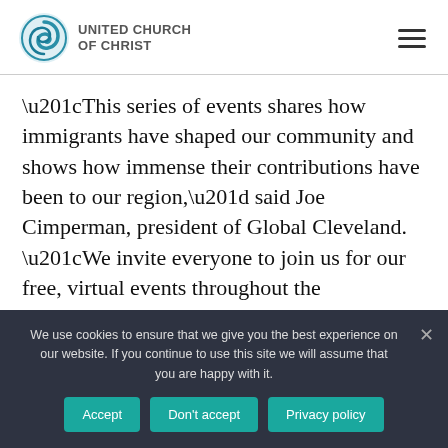UNITED CHURCH OF CHRIST
“This series of events shares how immigrants have shaped our community and shows how immense their contributions have been to our region,” said Joe Cimperman, president of Global Cleveland. “We invite everyone to join us for our free, virtual events throughout the week.”
We use cookies to ensure that we give you the best experience on our website. If you continue to use this site we will assume that you are happy with it.